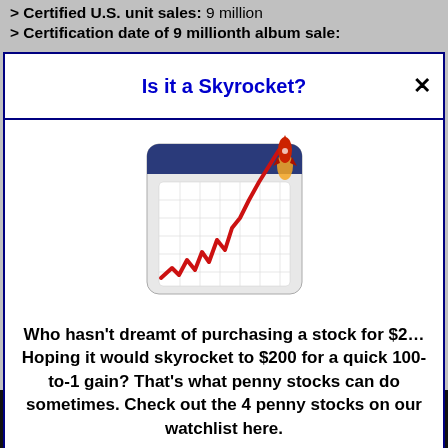> Certified U.S. unit sales: 9 million
> Certification date of 9 millionth album sale:
Is it a Skyrocket?
[Figure (illustration): Stock chart icon showing a rising red line on a calendar/grid background with a rocket launching from the top right corner]
Who hasn't dreamt of purchasing a stock for $2… Hoping it would skyrocket to $200 for a quick 100-to-1 gain? That's what penny stocks can do sometimes. Check out the 4 penny stocks on our watchlist here.
>>> See The List <<<
[Figure (photo): Dark photo of a person wearing glasses, partially visible at the bottom of the page]